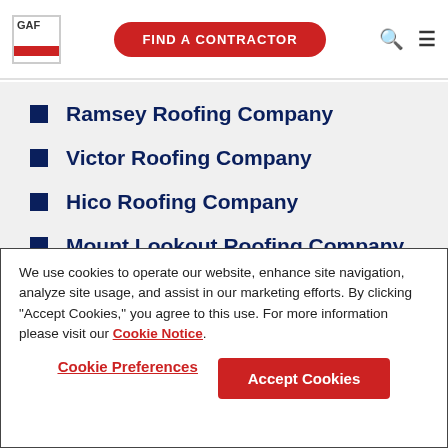GAF | FIND A CONTRACTOR
Ramsey Roofing Company
Victor Roofing Company
Hico Roofing Company
Mount Lookout Roofing Company
Drennen Roofing Company
Lansing Roofing Company
Kesler Cr Lns Roofing Company
We use cookies to operate our website, enhance site navigation, analyze site usage, and assist in our marketing efforts. By clicking "Accept Cookies," you agree to this use. For more information please visit our Cookie Notice.
Cookie Preferences | Accept Cookies